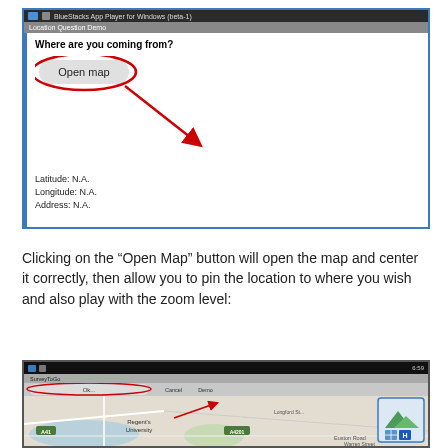[Figure (screenshot): Android app screenshot showing 'Location Question Demo' with bold text 'Where are you coming from?', an 'Open map' button circled in red with a red arrow pointing to it, and fields showing Latitude: N.A., Longitude: N.A., Address: N.A. The app has a blue left border and is shown inside BlueStacks App Player for Windows (beta-1).]
Clicking on the “Open Map” button will open the map and center it correctly, then allow you to pin the location to where you wish and also play with the zoom level:
[Figure (screenshot): Android app screenshot showing a map view with SurveyToGo app, centered on Regent's University area in London. Has an 'Ok' button circled in red with a red arrow pointing to it, a Cancel button, and a map zoom/navigation widget in the top-right corner. Street names visible including A41, A4201, Euston Road, Warren Street, Longford Street.]